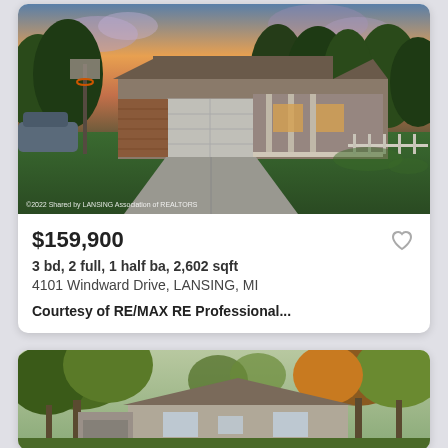[Figure (photo): Exterior photo of a single-story ranch home at dusk with a two-car garage, long concrete driveway, and large green lawn. Trees and sunset sky visible in background.]
$159,900
3 bd, 2 full, 1 half ba, 2,602 sqft
4101 Windward Drive, LANSING, MI
Courtesy of RE/MAX RE Professional...
[Figure (photo): Exterior photo of a ranch-style home surrounded by large trees with autumn foliage. Detached garage visible on the left.]